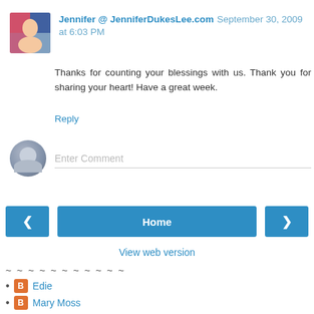Jennifer @ JenniferDukesLee.com September 30, 2009 at 6:03 PM
Thanks for counting your blessings with us. Thank you for sharing your heart! Have a great week.
Reply
Enter Comment
Home
View web version
~ ~ ~ ~ ~ ~ ~ ~ ~ ~ ~
Edie
Mary Moss